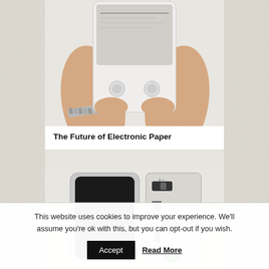[Figure (photo): Two hands holding a small white Sony PRS e-reader / electronic paper device, showing the screen and control buttons. Person wearing a silver metal watch bracelet on left wrist.]
The Future of Electronic Paper
[Figure (photo): Two views of a small silver/black electronic device: back panel showing black face with two small indicator LEDs, and side/back showing ports including a power switch, PS/2 connector, serial port, and two circular connectors.]
This website uses cookies to improve your experience. We'll assume you're ok with this, but you can opt-out if you wish.
Accept
Read More